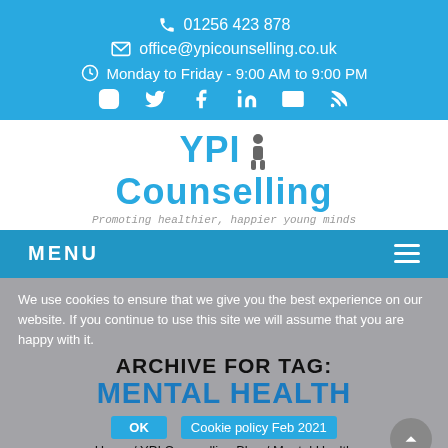📞 01256 423 878
✉ office@ypicounselling.co.uk
🕐 Monday to Friday - 9:00 AM to 9:00 PM
[Figure (other): Social media icons: Instagram, Twitter, Facebook, LinkedIn, Email, RSS]
[Figure (logo): YPI Counselling logo with tagline 'Promoting healthier, happier young minds']
MENU
We use cookies to ensure that we give you the best experience on our website. If you continue to use this site we will assume that you are happy with it.
ARCHIVE FOR TAG:
MENTAL HEALTH
OK   Cookie policy Feb 2021
Home / YPI Counselling Blog / Mental Health